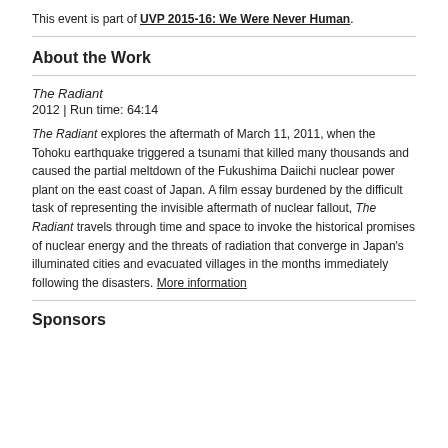This event is part of UVP 2015-16: We Were Never Human.
About the Work
The Radiant
2012 | Run time: 64:14
The Radiant explores the aftermath of March 11, 2011, when the Tohoku earthquake triggered a tsunami that killed many thousands and caused the partial meltdown of the Fukushima Daiichi nuclear power plant on the east coast of Japan. A film essay burdened by the difficult task of representing the invisible aftermath of nuclear fallout, The Radiant travels through time and space to invoke the historical promises of nuclear energy and the threats of radiation that converge in Japan's illuminated cities and evacuated villages in the months immediately following the disasters. More information
Sponsors